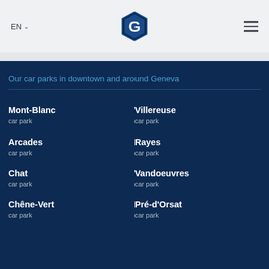EN  [logo]  [menu]
Our car parks in downtown and around Geneva
Mont-Blanc
car park
Villereuse
car park
Arcades
car park
Rayes
car park
Chat
car park
Vandoeuvres
car park
Chêne-Vert
car park
Pré-d'Orsat
car park